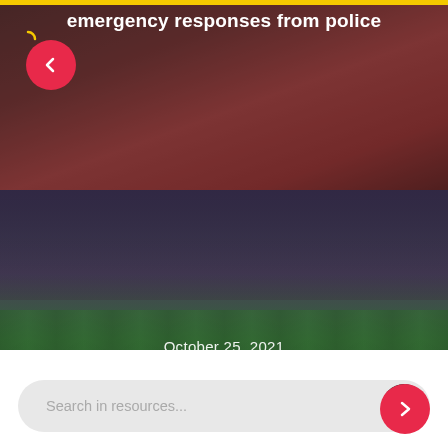emergency responses from police
[Figure (photo): Manchester United players in red jerseys on a football pitch, crowd in background, Cristiano Ronaldo gesturing with hands outstretched]
October 25, 2021
Man United 0-5 Liverpool – How social media reacted
Search in resources...